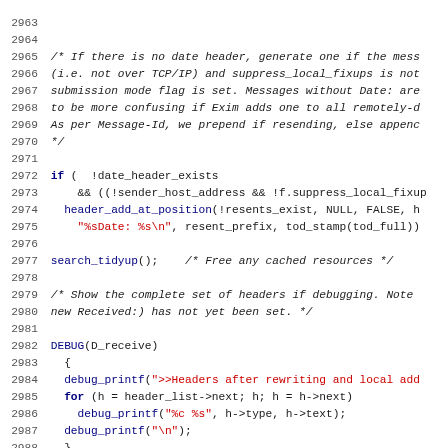Source code listing lines 2963-2995 showing C code for email header processing with debug output
[Figure (screenshot): C source code with syntax highlighting showing line numbers 2963-2995, with keywords in dark blue, string literals in red, and comments in italic monospace font]